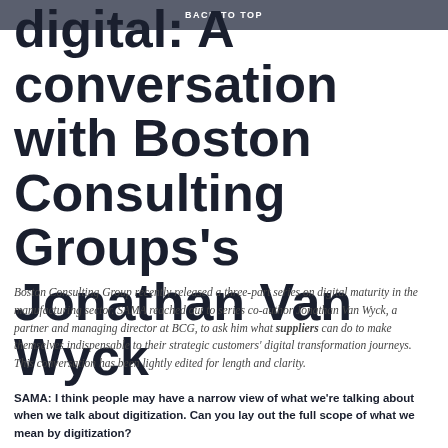BACK TO TOP
digital: A conversation with Boston Consulting Groups's Jonathan Van Wyck
Boston Consulting Group recently released a three-part series on digital maturity in the manufacturing sector. SAMA reached out to series co-author Jonathan Van Wyck, a partner and managing director at BCG, to ask him what suppliers can do to make themselves indispensable to their strategic customers' digital transformation journeys. This conversation has been lightly edited for length and clarity.
SAMA: I think people may have a narrow view of what we're talking about when we talk about digitization. Can you lay out the full scope of what we mean by digitization?